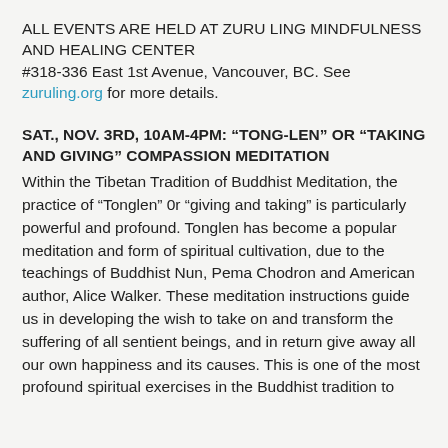ALL EVENTS ARE HELD AT ZURU LING MINDFULNESS AND HEALING CENTER
#318-336 East 1st Avenue, Vancouver, BC. See zuruling.org for more details.
SAT., NOV. 3RD, 10AM-4PM: “TONG-LEN” OR “TAKING AND GIVING” COMPASSION MEDITATION
Within the Tibetan Tradition of Buddhist Meditation, the practice of “Tonglen” 0r “giving and taking” is particularly powerful and profound. Tonglen has become a popular meditation and form of spiritual cultivation, due to the teachings of Buddhist Nun, Pema Chodron and American author, Alice Walker. These meditation instructions guide us in developing the wish to take on and transform the suffering of all sentient beings, and in return give away all our own happiness and its causes. This is one of the most profound spiritual exercises in the Buddhist tradition to